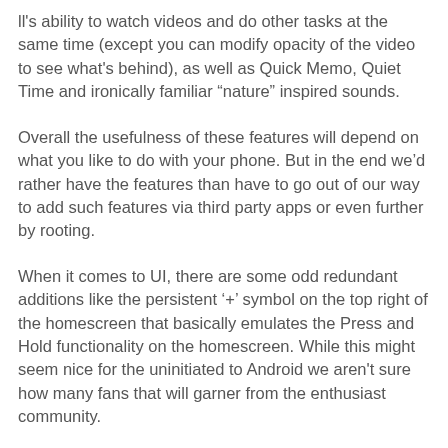ll's ability to watch videos and do other tasks at the same time (except you can modify opacity of the video to see what's behind), as well as Quick Memo, Quiet Time and ironically familiar “nature” inspired sounds.
Overall the usefulness of these features will depend on what you like to do with your phone. But in the end we’d rather have the features than have to go out of our way to add such features via third party apps or even further by rooting.
When it comes to UI, there are some odd redundant additions like the persistent ‘+’ symbol on the top right of the homescreen that basically emulates the Press and Hold functionality on the homescreen. While this might seem nice for the uninitiated to Android we aren't sure how many fans that will garner from the enthusiast community.
On the other hand we like the inclusion of the quick settings in the notification pane. We also like the expandability of the LG apps from simple shortcut to widgets. Not to mention the ability to resize folder, although making them any larger than 2x2 makes us wonder why bother making a folder in the first